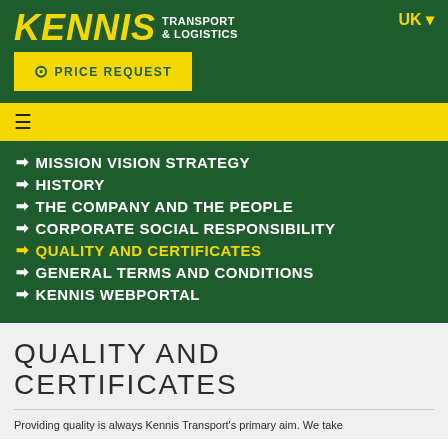KENNIS TRANSPORT & LOGISTICS
PRICE REQUEST
MISSION VISION STRATEGY
HISTORY
THE COMPANY AND THE PEOPLE
CORPORATE SOCIAL RESPONSIBILITY
QUALITY AND CERTIFICATES
GENERAL TERMS AND CONDITIONS
KENNIS WEBPORTAL
QUALITY AND CERTIFICATES
Providing quality is always Kennis Transport's primary aim. We take